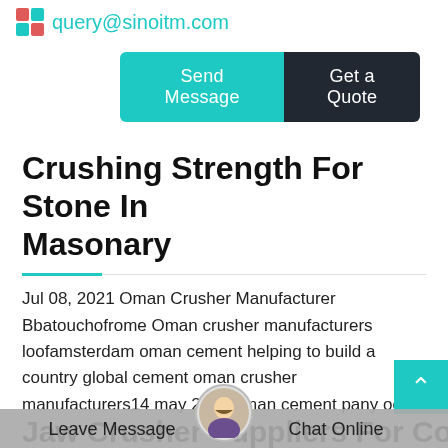query@sinoitm.com
Send Message  |  Get a Quote
Crushing Strength For Stone In Masonary
Jul 08, 2021 Oman Crusher Manufacturer Bbatouchofrome Oman crusher manufacturers loofamsterdam oman cement helping to build a country global cement oman crusher manufacturers14 may 2015 oman cement pany occ was established in 1977 to produce cement for the development of oman loed near the capital one is a 650thr hammer crusher from polysius and
Jaw Crusher Suppliers For Copper